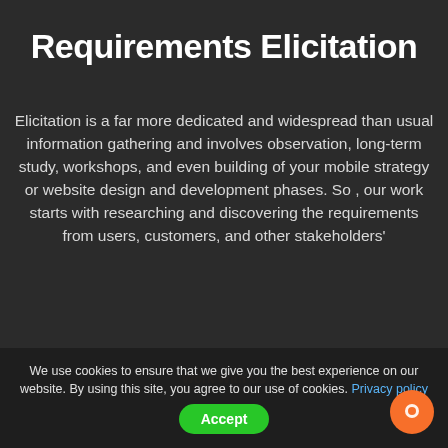Requirements Elicitation
Elicitation is a far more dedicated and widespread than usual information gathering and involves observation, long-term study, workshops, and even building of your mobile strategy or website design and development phases. So , our work starts with researching and discovering the requirements from users, customers, and other stakeholders' perspectives.
We use cookies to ensure that we give you the best experience on our website. By using this site, you agree to our use of cookies. Privacy policy Accept